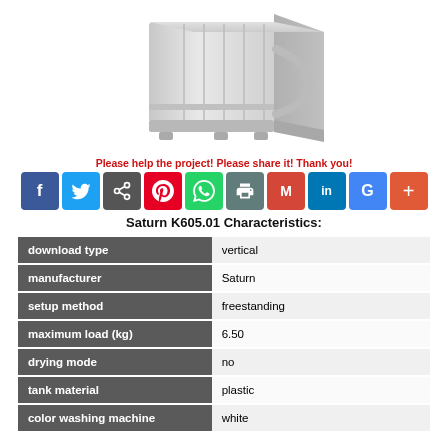[Figure (photo): Photo of a Saturn K605.01 twin-tub washing machine, white/light gray plastic body, vertical top-load design, viewed from an angle]
Please help the project! Please share it! Thank you!
[Figure (infographic): Social sharing buttons row: Facebook, Twitter, Share, Pinterest, WhatsApp, Print, Gmail, LinkedIn, Google, More (+)]
Saturn K605.01 Characteristics:
| download type | vertical |
| manufacturer | Saturn |
| setup method | freestanding |
| maximum load (kg) | 6.50 |
| drying mode | no |
| tank material | plastic |
| color washing machine | white |